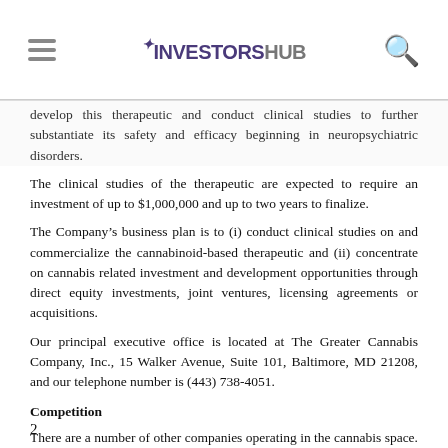investorshub
develop this therapeutic and conduct clinical studies to further substantiate its safety and efficacy beginning in neuropsychiatric disorders.
The clinical studies of the therapeutic are expected to require an investment of up to $1,000,000 and up to two years to finalize.
The Company’s business plan is to (i) conduct clinical studies on and commercialize the cannabinoid-based therapeutic and (ii) concentrate on cannabis related investment and development opportunities through direct equity investments, joint ventures, licensing agreements or acquisitions.
Our principal executive office is located at The Greater Cannabis Company, Inc., 15 Walker Avenue, Suite 101, Baltimore, MD 21208, and our telephone number is (443) 738-4051.
Competition
There are a number of other companies operating in the cannabis space. Such companies range from producers of cannabis plants to makers of cannabis-based edible products to developers of different methods of cannabis delivery. Known competitors in our space include Jazz Pharmaceuticals and Zynerba Pharmaceuticals (ZYNE).,
2